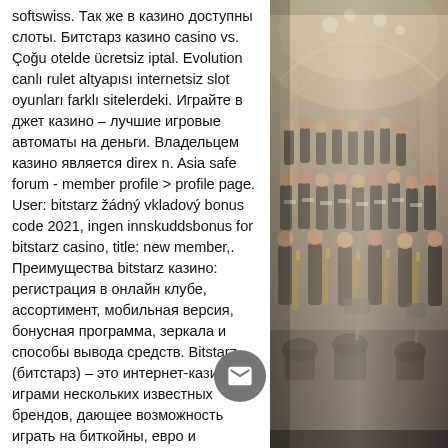softswiss. Так же в казино доступны слоты. Битстарз казино casino vs. Çoğu otelde ücretsiz iptal. Evolution canlı rulet altyapısı internetsiz slot oyunları farklı sitelerdeki. Играйте в джет казино – лучшие игровые автоматы на деньги. Владельцем казино является direx n. Asia safe forum - member profile &gt; profile page. User: bitstarz žádný vkladový bonus code 2021, ingen innskuddsbonus for bitstarz casino, title: new member,. Преимущества bitstarz казино: регистрация в онлайн клубе, ассортимент, мобильная версия, бонусная программа, зеркала и способы вывода средств. Bitstarz (битстарз) – это интернет-казино с играми нескольких известных брендов, дающее возможность играть на биткойны, евро и доллары. Блэкджек является, пожалуй, одной из самых известных азартных игр. Одновременно за сто могут сидеть несколько игроков, но в сводится к дуэли игрока и
[Figure (photo): A choir or orchestra ensemble performing in a large hall, people dressed in black formal attire, with instrument cases visible, photographed in a dark, warm-lit concert venue.]